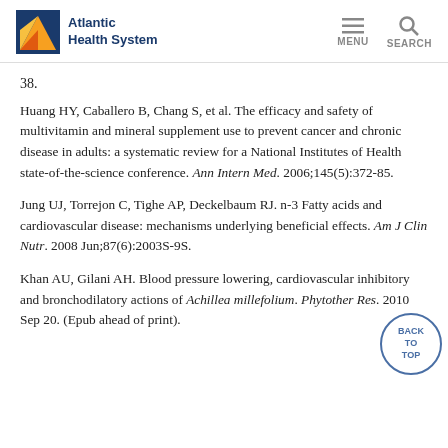Atlantic Health System — MENU SEARCH
38.
Huang HY, Caballero B, Chang S, et al. The efficacy and safety of multivitamin and mineral supplement use to prevent cancer and chronic disease in adults: a systematic review for a National Institutes of Health state-of-the-science conference. Ann Intern Med. 2006;145(5):372-85.
Jung UJ, Torrejon C, Tighe AP, Deckelbaum RJ. n-3 Fatty acids and cardiovascular disease: mechanisms underlying beneficial effects. Am J Clin Nutr. 2008 Jun;87(6):2003S-9S.
Khan AU, Gilani AH. Blood pressure lowering, cardiovascular inhibitory and bronchodilatory actions of Achillea millefolium. Phytother Res. 2010 Sep 20. (Epub ahead of print).